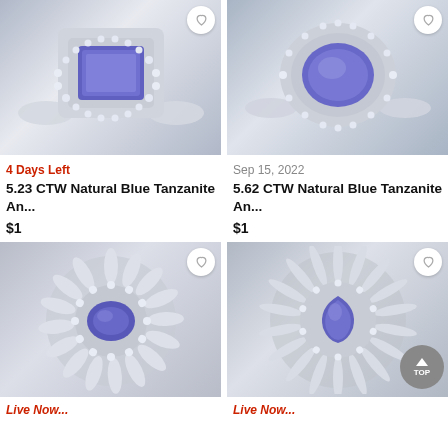[Figure (photo): Blue tanzanite rectangular emerald-cut gemstone ring surrounded by diamond halo in white gold setting, top-down view]
[Figure (photo): Blue tanzanite oval gemstone ring with double diamond halo in white gold split shank setting]
4 Days Left
Sep 15, 2022
5.23 CTW Natural Blue Tanzanite An...
5.62 CTW Natural Blue Tanzanite An...
$1
$1
[Figure (photo): Blue tanzanite oval gemstone ring with large sunburst ballerina diamond halo in white gold setting]
[Figure (photo): Blue tanzanite pear-shaped gemstone with starburst diamond halo cluster setting in white gold]
Live Now...
Live Now...